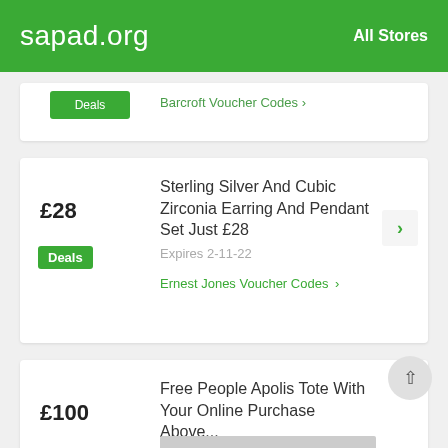sapad.org   All Stores
Barcroft Voucher Codes >
£28
Deals
Sterling Silver And Cubic Zirconia Earring And Pendant Set Just £28
Expires 2-11-22
Ernest Jones Voucher Codes >
£100
Deals
Free People Apolis Tote With Your Online Purchase Above...
Expires 3-11-22
Free People Voucher Codes >